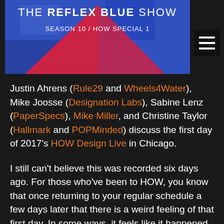[Figure (screenshot): Header image for 'The Reflex Blue Show, Season 10 / HOW Special 1' podcast with blue/red geometric design]
Justin Ahrens (Rule29 and Wheels4Water), Mike Joosse (Designation Labs), Sabine Lenz (PaperSpecs), Mike Miller, and Christine Taylor (Hallmark and POPMinded) discuss the first day of 2017's HOW Design Live in Chicago.
I still can't believe this was recorded six days ago. For those who've been to HOW, you know that once returning to your regular schedule a few days later that there is a weird feeling of that first day. In some ways, it feels like it happened just hours ago – while at the same time feeling like a month away.
I wrote a few blog posts documenting the trip